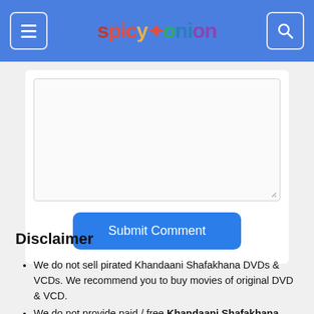spicyonion — navigation header with menu and search buttons
[Figure (screenshot): Text area input box with resize handle at bottom right, and a blue Submit Comment button below it, inside a white card]
Disclaimer
We do not sell pirated Khandaani Shafakhana DVDs & VCDs. We recommend you to buy movies of original DVD & VCD.
We do not provide paid / free Khandaani Shafakhana